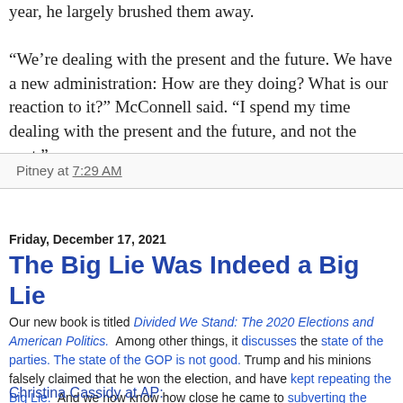“We’re dealing with the present and the future. We have a new administration: How are they doing? What is our reaction to it?” McConnell said. “I spend my time dealing with the present and the future, and not the past.”
Pitney at 7:29 AM
Friday, December 17, 2021
The Big Lie Was Indeed a Big Lie
Our new book is titled Divided We Stand: The 2020 Elections and American Politics. Among other things, it discusses the state of the parties. The state of the GOP is not good. Trump and his minions falsely claimed that he won the election, and have kept repeating the Big Lie. And we now know how close he came to subverting the Constitution.
Christina Cassidy at AP: